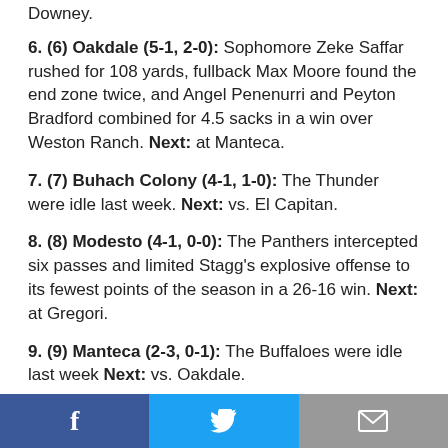Downey.
6. (6) Oakdale (5-1, 2-0): Sophomore Zeke Saffar rushed for 108 yards, fullback Max Moore found the end zone twice, and Angel Penenurri and Peyton Bradford combined for 4.5 sacks in a win over Weston Ranch. Next: at Manteca.
7. (7) Buhach Colony (4-1, 1-0): The Thunder were idle last week. Next: vs. El Capitan.
8. (8) Modesto (4-1, 0-0): The Panthers intercepted six passes and limited Stagg's explosive offense to its fewest points of the season in a 26-16 win. Next: at Gregori.
9. (9) Manteca (2-3, 0-1): The Buffaloes were idle last week Next: vs. Oakdale.
10. (10) Gregori (3-2, 0-0): The Jaguars were idle last week. Next: vs. Modesto.